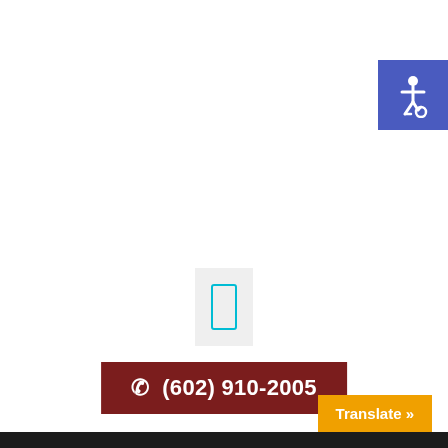[Figure (illustration): Accessibility wheelchair icon on blue/purple square background, top-right corner]
[Figure (illustration): Mobile phone icon outlined in cyan on light gray background, centered]
☎ (602) 910-2005
Texting And Driving Chandler AZ
Translate »